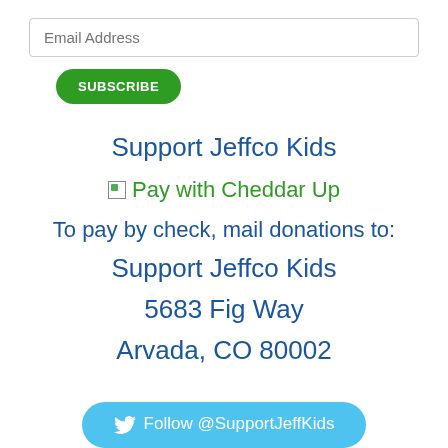Email Address
SUBSCRIBE
Support Jeffco Kids
[Figure (other): Broken image placeholder followed by 'Pay with Cheddar Up' link text in green]
To pay by check, mail donations to:
Support Jeffco Kids
5683 Fig Way
Arvada, CO 80002
Follow @SupportJeffKids